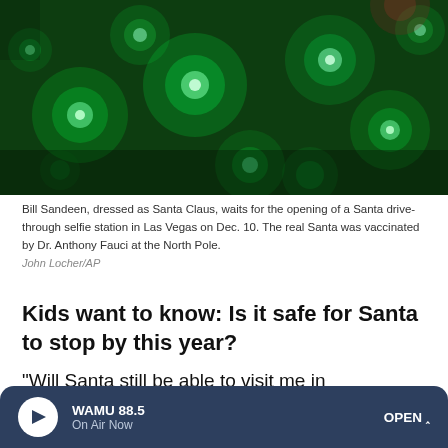[Figure (photo): Bokeh photo of green Christmas lights with blurred circular light orbs on a dark green background]
Bill Sandeen, dressed as Santa Claus, waits for the opening of a Santa drive-through selfie station in Las Vegas on Dec. 10. The real Santa was vaccinated by Dr. Anthony Fauci at the North Pole.
John Locher/AP
Kids want to know: Is it safe for Santa to stop by this year?
"Will Santa still be able to visit me in coronavirus's season?" asked 6-year-old Paxton from Geneva, Ill., during a CNN-Sesame Street town hall Saturday. "What if he can't go to
WAMU 88.5 | On Air Now | OPEN ^